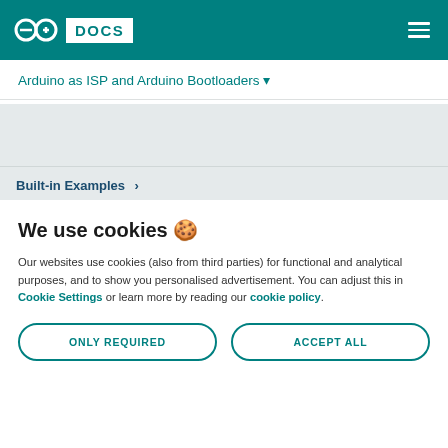Arduino DOCS
Arduino as ISP and Arduino Bootloaders
Built-in Examples >
We use cookies 🍪
Our websites use cookies (also from third parties) for functional and analytical purposes, and to show you personalised advertisement. You can adjust this in Cookie Settings or learn more by reading our cookie policy.